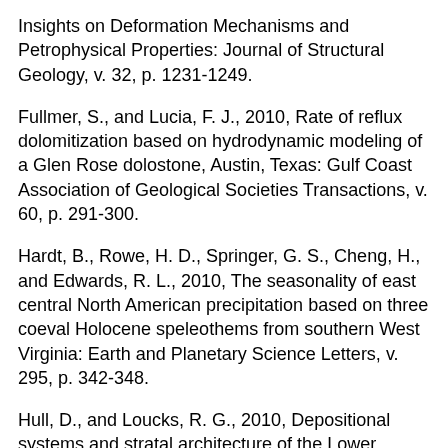Insights on Deformation Mechanisms and Petrophysical Properties: Journal of Structural Geology, v. 32, p. 1231-1249.
Fullmer, S., and Lucia, F. J., 2010, Rate of reflux dolomitization based on hydrodynamic modeling of a Glen Rose dolostone, Austin, Texas: Gulf Coast Association of Geological Societies Transactions, v. 60, p. 291-300.
Hardt, B., Rowe, H. D., Springer, G. S., Cheng, H., and Edwards, R. L., 2010, The seasonality of east central North American precipitation based on three coeval Holocene speleothems from southern West Virginia: Earth and Planetary Science Letters, v. 295, p. 342-348.
Hull, D., and Loucks, R. G., 2010, Depositional systems and stratal architecture of the Lower Cretaceous (Aptian) Pearsall Formation in South Texas: Gulf Coast Association of Geological Societies Transactions, v. 60, p. 901-906.